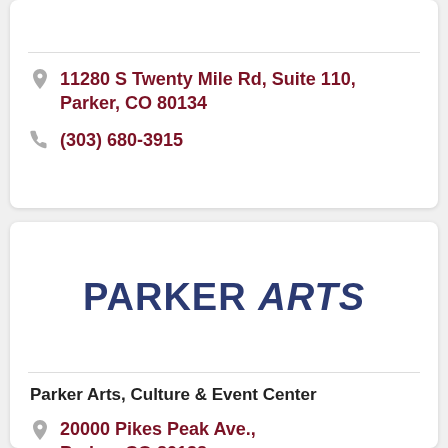11280 S Twenty Mile Rd, Suite 110, Parker, CO 80134
(303) 680-3915
[Figure (logo): Parker Arts logo in dark navy blue bold uppercase text]
Parker Arts, Culture & Event Center
20000 Pikes Peak Ave., Parker, CO 80138